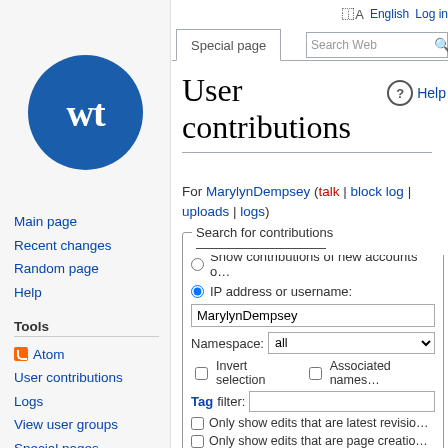[Figure (logo): Wikivoyage 'wt' logo — white letters on blue circle]
Main page
Recent changes
Random page
Help
Tools
Atom
User contributions
Logs
View user groups
Special pages
Printable version
Special page   Search Web   English   Log in
User contributions
For MarylynDempsey (talk | block log | uploads | logs)
Search for contributions — Show contributions of new accounts o... — IP address or username: MarylynDempsey — Namespace: all — Invert selection  Associated names... — Tag filter: — Only show edits that are latest revisio... — Only show edits that are page creatio... — Hide minor edits